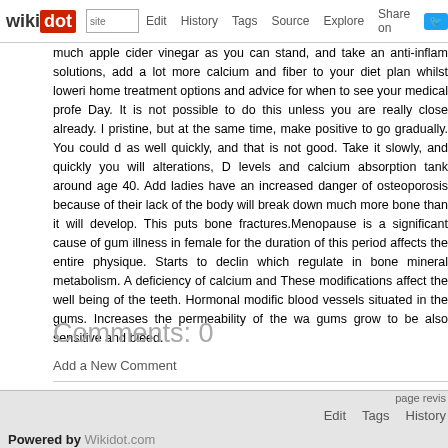wikidot | site | Edit | History | Tags | Source | Explore | Share on Twitter
much apple cider vinegar as you can stand, and take an anti-inflam solutions, add a lot more calcium and fiber to your diet plan whilst loweri home treatment options and advice for when to see your medical profe Day. It is not possible to do this unless you are really close already. pristine, but at the same time, make positive to go gradually. You could as well quickly, and that is not good. Take it slowly, and quickly you wi alterations, D levels and calcium absorption tank around age 40. Add ladies have an increased danger of osteoporosis because of their lack of the body will break down much more bone than it will develop. This puts bone fractures.Menopause is a significant cause of gum illness in female for the duration of this period affects the entire physique. Starts to declin which regulate in bone mineral metabolism. A deficiency of calcium and These modifications affect the well being of the teeth. Hormonal modific blood vessels situated in the gums. Increases the permeability of the wa gums grow to be also sensitive and bleed.
Comments: 0
Add a New Comment
page revis | Edit | Tags | History
Powered by Wikidot.com
Unless otherwise stated, the content of this page is li